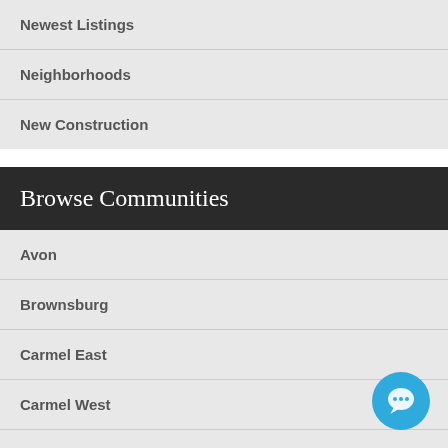Newest Listings
Neighborhoods
New Construction
Browse Communities
Avon
Brownsburg
Carmel East
Carmel West
Danville